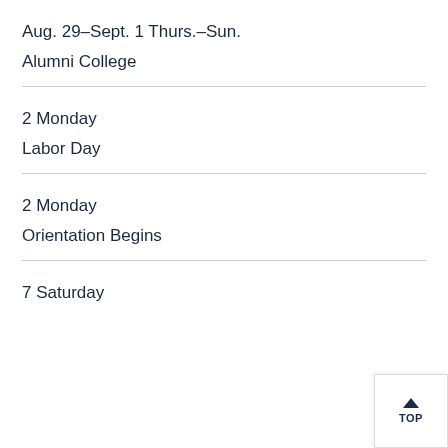Aug. 29–Sept. 1 Thurs.–Sun.
Alumni College
2 Monday
Labor Day
2 Monday
Orientation Begins
7 Saturday